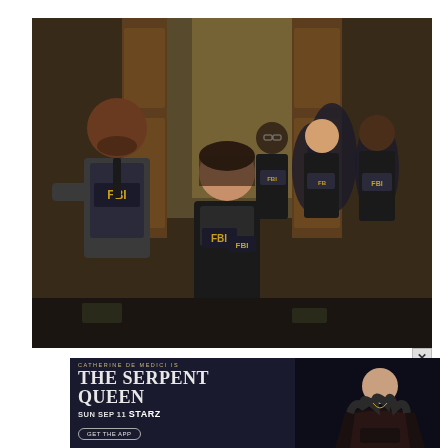[Figure (photo): Group of FBI agents in tactical vests walking through a corridor or building entrance. Multiple agents wearing black FBI vests and jackets, one man in front left in a suit vest with FBI badge, a woman in center foreground in FBI jacket, and several others behind them. Interior setting with warm wood-toned doors in background.]
[Figure (photo): Advertisement banner for 'The Serpent Queen' on Starz. Dark background with text 'CATHERINE DE MEDICI IS THE SERPENT QUEEN' and 'SUN SEP 11 STARZ' with a 'GET THE APP' button. Right side shows a woman in dark dramatic costume seated regally.]